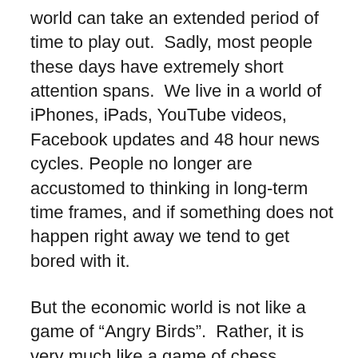world can take an extended period of time to play out.  Sadly, most people these days have extremely short attention spans.  We live in a world of iPhones, iPads, YouTube videos, Facebook updates and 48 hour news cycles. People no longer are accustomed to thinking in long-term time frames, and if something does not happen right away we tend to get bored with it.
But the economic world is not like a game of “Angry Birds”.  Rather, it is very much like a game of chess.
And unfortunately for us, checkmate is right around the corner.